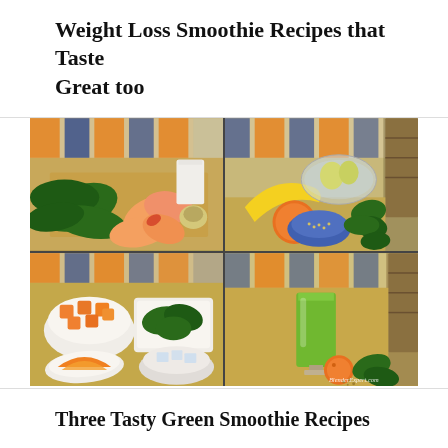Weight Loss Smoothie Recipes that Taste Great too
[Figure (photo): Four-panel photo collage showing smoothie ingredients and a finished green smoothie. Top-left: dark leafy greens (spinach), sliced peaches, and a glass of milk on a wooden cutting board. Top-right: banana, orange, bowl of seeds, leafy greens, and a glass bowl with ingredients on a wooden surface. Bottom-left: white bowls containing cubed melon, spinach leaves, orange slices, and ice on a wooden surface. Bottom-right: a tall glass of green smoothie, an orange, and spinach leaves on a wooden surface. Watermark reads BlenderExpert.com]
Three Tasty Green Smoothie Recipes